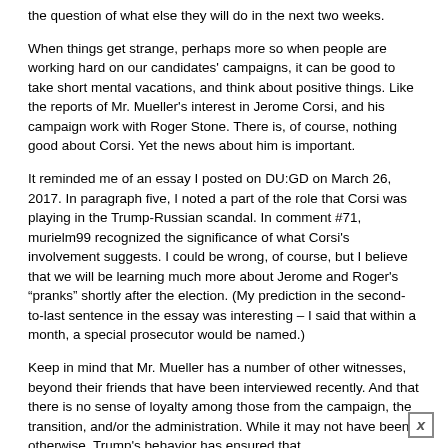the question of what else they will do in the next two weeks.
When things get strange, perhaps more so when people are working hard on our candidates' campaigns, it can be good to take short mental vacations, and think about positive things. Like the reports of Mr. Mueller's interest in Jerome Corsi, and his campaign work with Roger Stone. There is, of course, nothing good about Corsi. Yet the news about him is important.
It reminded me of an essay I posted on DU:GD on March 26, 2017. In paragraph five, I noted a part of the role that Corsi was playing in the Trump-Russian scandal. In comment #71, murielm99 recognized the significance of what Corsi's involvement suggests. I could be wrong, of course, but I believe that we will be learning much more about Jerome and Roger's “pranks” shortly after the election. (My prediction in the second-to-last sentence in the essay was interesting – I said that within a month, a special prosecutor would be named.)
Keep in mind that Mr. Mueller has a number of other witnesses, beyond their friends that have been interviewed recently. And that there is no sense of loyalty among those from the campaign, the transition, and/or the administration. While it may not have been otherwise, Trump's behavior has ensured that.
Trump knows what the Mueller investigation has found, because he was a participant. Same with the SDNY and NYS investigations. He knows what it means when our party takes back the House of Representatives